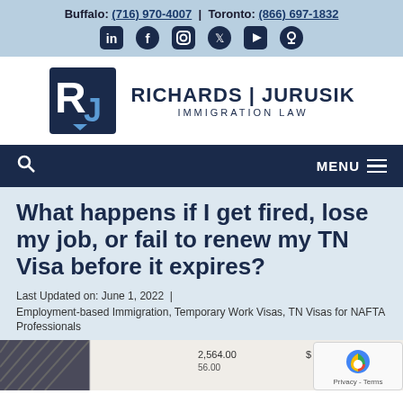Buffalo: (716) 970-4007 | Toronto: (866) 697-1832
[Figure (logo): Richards Jurusik Immigration Law logo with RJ monogram icon and text]
MENU
What happens if I get fired, lose my job, or fail to renew my TN Visa before it expires?
Last Updated on: June 1, 2022  |
Employment-based Immigration, Temporary Work Visas, TN Visas for NAFTA Professionals
[Figure (photo): Partial document image showing financial figures including 2,564.00, 56.00, $, 154.00]